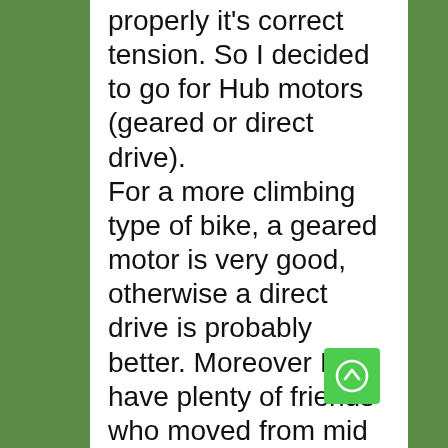properly it's correct tension. So I decided to go for Hub motors (geared or direct drive). For a more climbing type of bike, a geared motor is very good, otherwise a direct drive is probably better. Moreover I have plenty of friends who moved from mid drive to hub motors for reliability reasons. Ho...
[Figure (other): Green circular up-arrow button (floating action button)]